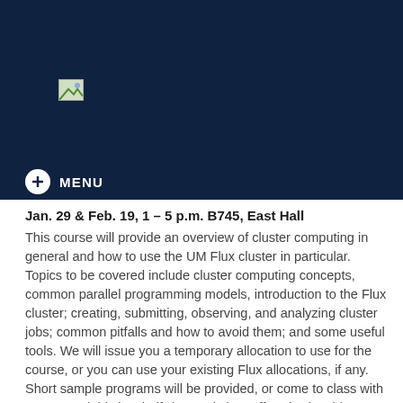[Figure (logo): University logo placeholder image in dark navy header]
+ MENU
Jan. 29 & Feb. 19, 1 – 5 p.m. B745, East Hall
This course will provide an overview of cluster computing in general and how to use the UM Flux cluster in particular. Topics to be covered include cluster computing concepts, common parallel programming models, introduction to the Flux cluster; creating, submitting, observing, and analyzing cluster jobs; common pitfalls and how to avoid them; and some useful tools. We will issue you a temporary allocation to use for the course, or you can use your existing Flux allocations, if any. Short sample programs will be provided, or come to class with your own. (This is a half-day workshop offered twice this term; interested participants should sign up for only one session.)